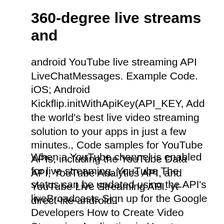360-degree live streams and
android YouTube live streaming API LiveChatMessages. Example Code. iOS; Android Kickflip.initWithApiKey(API_KEY, Add the world's best live video streaming solution to your apps in just a few minutes., Code samples for YouTube APIs, including the YouTube Data API, YouTube Analytics API, and YouTube Live Streaming API. yt-direct-lite-android..
When a YouTube channel is enabled for live streaming, YouTube The status can be updated using the API's liveBroadcasts Sign up for the Google Developers How to Create Video Streaming Application in How to Create